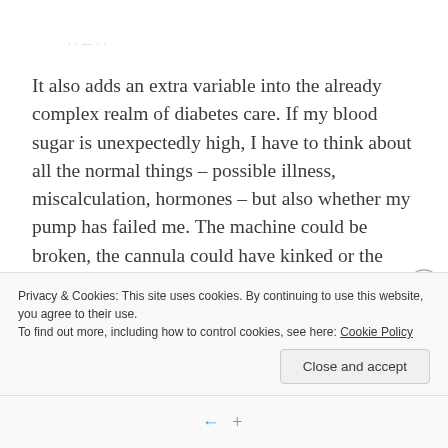· · — · ·
It also adds an extra variable into the already complex realm of diabetes care. If my blood sugar is unexpectedly high, I have to think about all the normal things – possible illness, miscalculation, hormones – but also whether my pump has failed me. The machine could be broken, the cannula could have kinked or the wire could have bubbles in it. Once my pump entirely failed me
Privacy & Cookies: This site uses cookies. By continuing to use this website, you agree to their use.
To find out more, including how to control cookies, see here: Cookie Policy
Close and accept